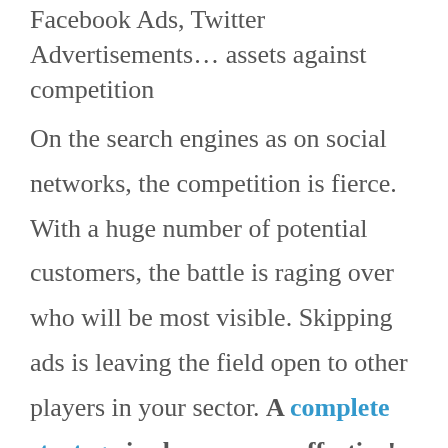Facebook Ads, Twitter Advertisements… assets against competition
On the search engines as on social networks, the competition is fierce. With a huge number of potential customers, the battle is raging over who will be most visible. Skipping ads is leaving the field open to other players in your sector. A complete strategy is always more effective!
Since the beginning of 2018, Facebook (which should be followed in the future by